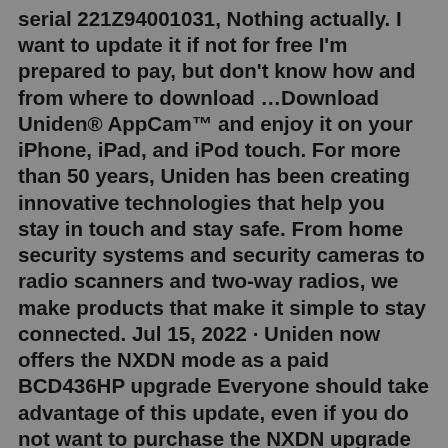serial 221Z94001031, Nothing actually. I want to update it if not for free I'm prepared to pay, but don't know how and from where to download …Download Uniden® AppCam™ and enjoy it on your iPhone, iPad, and iPod touch. For more than 50 years, Uniden has been creating innovative technologies that help you stay in touch and stay safe. From home security systems and security cameras to radio scanners and two-way radios, we make products that make it simple to stay connected. Jul 15, 2022 · Uniden now offers the NXDN mode as a paid BCD436HP upgrade Everyone should take advantage of this update, even if you do not want to purchase the NXDN upgrade Substitute item(s): Uniden UBCD3600XLT with NXDN Activated Uniden DFR6 Firmware Update Manager — When you have downloaded the zip file, extract the files, open up the folder, and then ... Uniden ships a preconfigured SD card with USA and Canada frequencies preprogrammed. Weekly update are available via Uniden's Sentinel software and USB